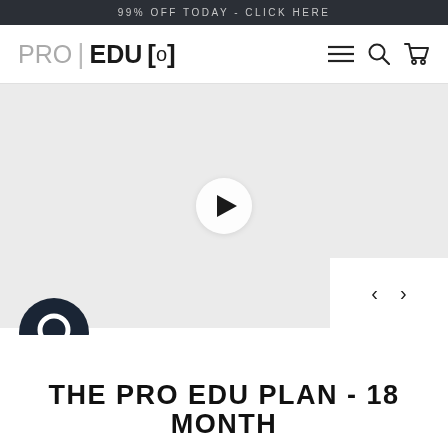99% OFF TODAY - CLICK HERE
[Figure (logo): PRO EDU [o] logo in the navigation bar with menu, search, and cart icons]
[Figure (screenshot): Video player area with light gray background and a white circular play button in the center, thumbnail navigation arrows at bottom right]
THE PRO EDU PLAN - 18 MONTH